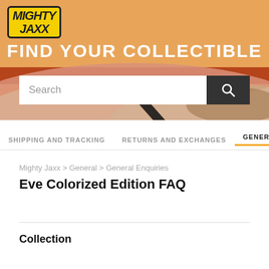[Figure (other): Mighty Jaxx website header banner with decorative wave shapes in orange, rust, tan, and brown tones, featuring the Mighty Jaxx logo and 'FIND YOUR COLLECTIBLE' title with a search bar below.]
MIGHTY JAXX
FIND YOUR COLLECTIBLE
Search
SHIPPING AND TRACKING    RETURNS AND EXCHANGES    GENERAL
Mighty Jaxx > General > General Enquiries
Eve Colorized Edition FAQ
Collection